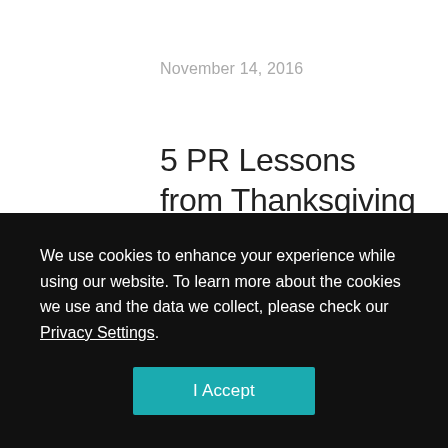November 14, 2016
5 PR Lessons from Thanksgiving Dinner
Thanksgiving is right around the corner and hopefully you will be spending quality time with friends and family, as well as preparing and enjoying a traditional
We use cookies to enhance your experience while using our website. To learn more about the cookies we use and the data we collect, please check our Privacy Settings.
I Accept